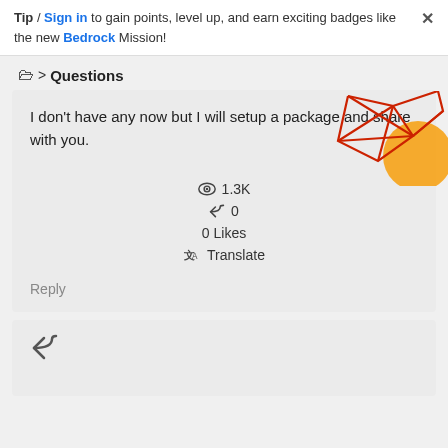Tip / Sign in to gain points, level up, and earn exciting badges like the new Bedrock Mission!
🗀 > Questions
[Figure (illustration): Abstract geometric decorative graphic with red line polygon shapes and an orange circle, top-right corner]
I don't have any now but I will setup a package and share with you.
👁 1.3K
↩ 0
0 Likes
⇄ Translate
Reply